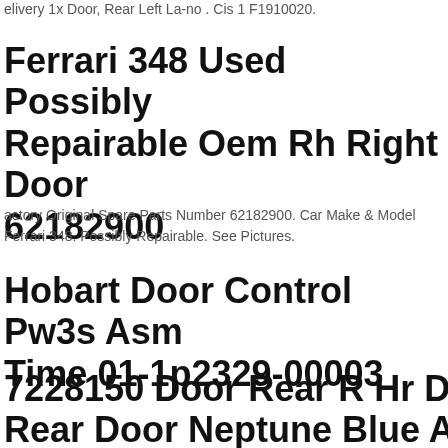elivery 1x Door, Rear Left La-no . Cis 1 F1910020.
Ferrari 348 Used Possibly Repairable Oem Rh Right Door 62182900
actory Original Spare Parts Number 62182900. Car Make & Model Ferrari 348. Possibly Repairable. See Pictures.
Hobart Door Control Pw3s Asm Time 01-1p2329-00003
7228150 Door Rear R Hr Disc Lock Rear Door Neptune Blue A85 Bmw er F07 Gt